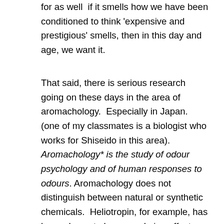for as well  if it smells how we have been conditioned to think 'expensive and prestigious' smells, then in this day and age, we want it.
That said, there is serious research going on these days in the area of aromachology.  Especially in Japan.  (one of my classmates is a biologist who works for Shiseido in this area).      Aromachology* is the study of odour psychology and of human responses to odours. Aromachology does not distinguish between natural or synthetic chemicals.  Heliotropin, for example, has been shown to have a calming effect on the subjects studied, despite being a synthetic material (although it is available from natural sources as well)  The results of these studies is beginning to play a serious role in the formulation of perfumes. We are being chemically influenced by the perfume industry without being aware of it.  Historically, the ultimate goal of the perfume industry has been a healthy bottom-line- not our general